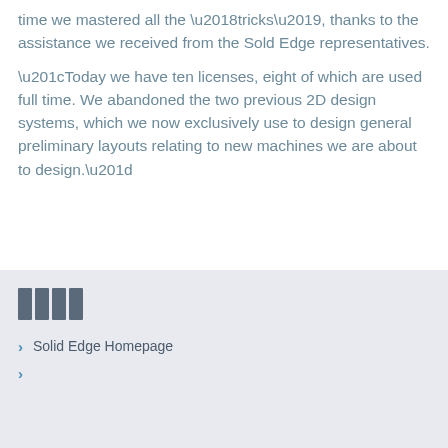time we mastered all the 'tricks', thanks to the assistance we received from the Sold Edge representatives.
“Today we have ten licenses, eight of which are used full time. We abandoned the two previous 2D design systems, which we now exclusively use to design general preliminary layouts relating to new machines we are about to design.”
[Figure (other): Four vertical bar icons in dark gray/slate color]
Solid Edge Homepage
[redacted/blurred link text]